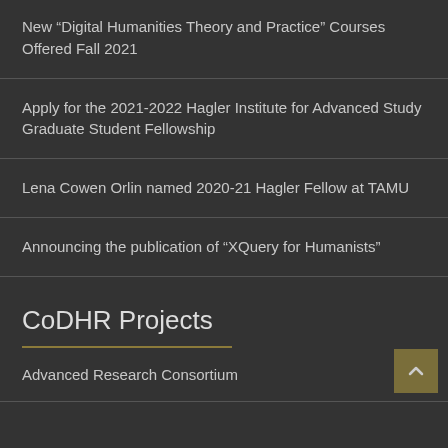New “Digital Humanities Theory and Practice” Courses Offered Fall 2021
Apply for the 2021-2022 Hagler Institute for Advanced Study Graduate Student Fellowship
Lena Cowen Orlin named 2020-21 Hagler Fellow at TAMU
Announcing the publication of “XQuery for Humanists”
CoDHR Projects
Advanced Research Consortium